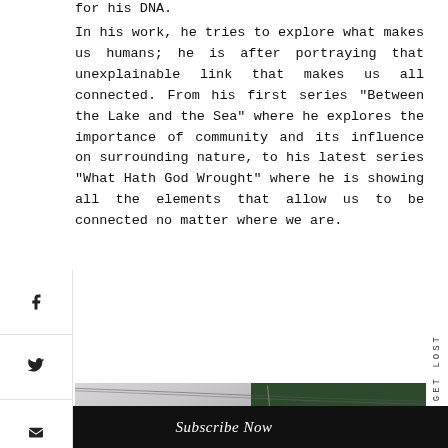for his DNA.
In his work, he tries to explore what makes us humans; he is after portraying that unexplainable link that makes us all connected. From his first series “Between the Lake and the Sea” where he explores the importance of community and its influence on surrounding nature, to his latest series “What Hath God Wrought” where he is showing all the elements that allow us to be connected no matter where we are.
[Figure (photo): Outdoor photograph showing a grey overcast sky on the left with power lines or cables running diagonally, and dense green trees on the right side of the frame.]
Subscribe Now